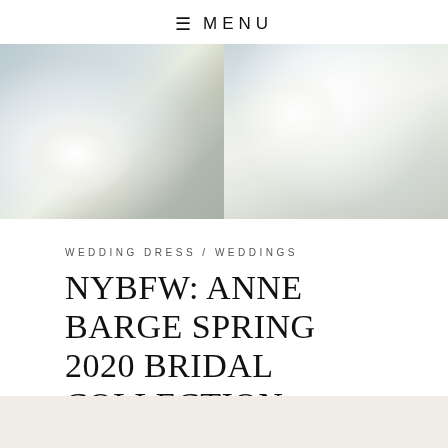≡ MENU
[Figure (photo): Two close-up photos of bridal wedding dresses side by side: left shows lace sleeve detail with veil, right shows flowing white fabric detail]
WEDDING DRESS / WEDDINGS
NYBFW: ANNE BARGE SPRING 2020 BRIDAL COLLECTION